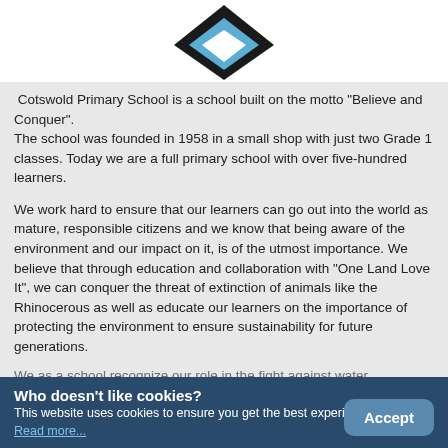[Figure (logo): Cotswold Primary School logo — diamond/chevron shape in black and blue at top of page]
Cotswold Primary School is a school built on the motto "Believe and Conquer".
The school was founded in 1958 in a small shop with just two Grade 1 classes. Today we are a full primary school with over five-hundred learners.
We work hard to ensure that our learners can go out into the world as mature, responsible citizens and we know that being aware of the environment and our impact on it, is of the utmost importance. We believe that through education and collaboration with "One Land Love It", we can conquer the threat of extinction of animals like the Rhinocerous as well as educate our learners on the importance of protecting the environment to ensure sustainability for future generations.
We as a school recognize our role in the fight against water
Who doesn't like cookies?
This website uses cookies to ensure you get the best experience.
Read more...